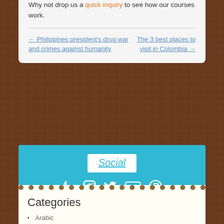Why not drop us a quick inquiry to see how our courses work.
← Philippines president's drug war and crimes against humanity
The 3 best places to visit in Colombia →
[Figure (infographic): Social media widget on a teal/cyan background with a white 'Social' label badge and five social media icons: Facebook, Instagram, Twitter, YouTube, Pinterest]
Categories
Arabic
babble
Danish